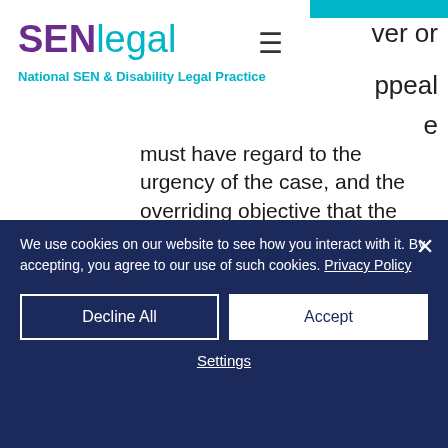[Figure (logo): SENlegal logo with navigation box — purple bold SEN, teal legal, teal tagline National SEN & Disability Legal Practice, hamburger menu icon]
wer or
ppeal
e
must have regard to the urgency of the case, and the overriding objective that the case must be dealt with "fairly and justly".
4.  If the Judge decides to alter the
We use cookies on our website to see how you interact with it. By accepting, you agree to our use of such cookies. Privacy Policy
Decline All
Accept
Settings